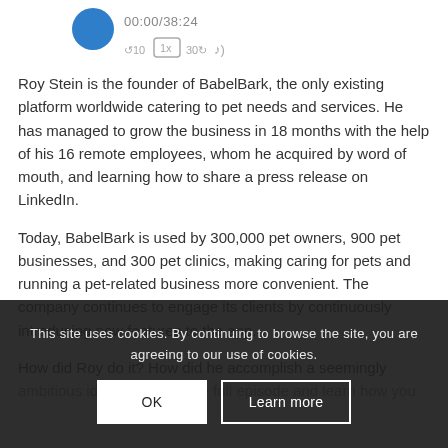[Figure (screenshot): Audio player interface showing avatar icon, timestamp 00:00/38:24, and playback control icons]
Roy Stein is the founder of BabelBark, the only existing platform worldwide catering to pet needs and services. He has managed to grow the business in 18 months with the help of his 16 remote employees, whom he acquired by word of mouth, and learning how to share a press release on LinkedIn.
Today, BabelBark is used by 300,000 pet owners, 900 pet businesses, and 300 pet clinics, making caring for pets and running a pet-related business more convenient. The company continues to engage its clients by continuously introducing new features to the app.
How did Roy do it? How did he accomplish a seemingly ambitious idea? Listen to the full episode and learn how you [bring your business to the next level using tools like] LinkedIn.
This site uses cookies. By continuing to browse the site, you are agreeing to our use of cookies.